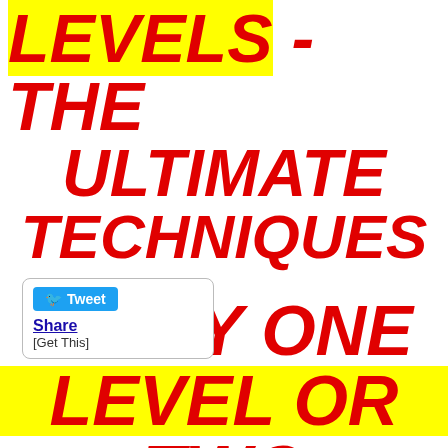LEVELS - THE ULTIMATE TECHNIQUES BUY ONE LEVEL OR TWO LEVELS
[Figure (screenshot): Twitter/social share widget with Tweet button and Share / [Get This] links]